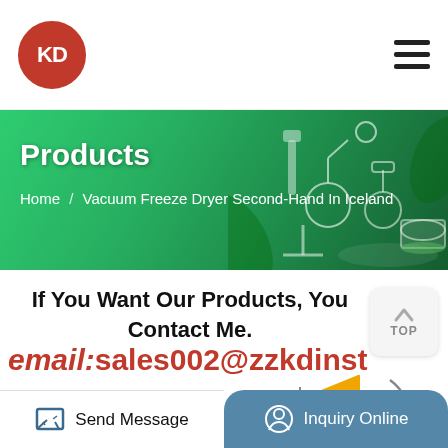[Figure (logo): KD company logo — red circle with white KD letters]
[Figure (illustration): Hamburger menu icon — three horizontal bars]
[Figure (photo): Green hero banner with lab equipment (rotary evaporators) and plant leaves decoration]
Products
Home / Vacuum Freeze Dryer Second-Hand In Iceland
If You Want Our Products, You Contact Me.
email:sales002@zzkdinst
[Figure (other): TOP button with upward arrow]
[Figure (illustration): Popular badge in gold/yellow diagonal ribbon]
[Figure (photo): Product equipment thumbnails — lab instruments]
Send Message
Inquiry Online